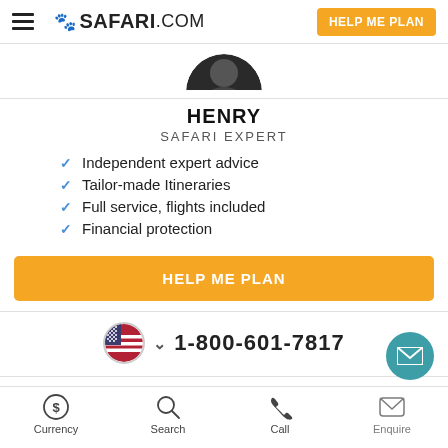SAFARI.COM — HELP ME PLAN
[Figure (photo): Circular profile photo of Henry, a safari expert, partially visible (top cropped)]
HENRY
SAFARI EXPERT
Independent expert advice
Tailor-made Itineraries
Full service, flights included
Financial protection
HELP ME PLAN
1-800-601-7817
Currency  Search  Call  Enquire